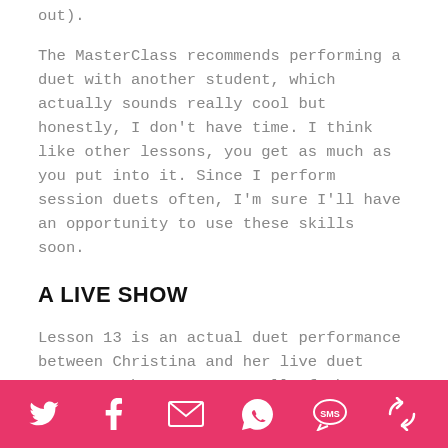out).
The MasterClass recommends performing a duet with another student, which actually sounds really cool but honestly, I don't have time. I think like other lessons, you get as much as you put into it. Since I perform session duets often, I'm sure I'll have an opportunity to use these skills soon.
A LIVE SHOW
Lesson 13 is an actual duet performance between Christina and her live duet partner. They went over all of the possible things that could go wrong in a
social share icons: Twitter, Facebook, Email, WhatsApp, SMS, Share